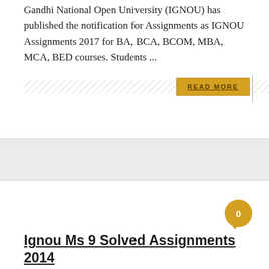Gandhi National Open University (IGNOU) has published the notification for Assignments as IGNOU Assignments 2017 for BA, BCA, BCOM, MBA, MCA, BED courses. Students ...
READ MORE
Ignou Ms 9 Solved Assignments 2014
posted on February 18, 2017 , by Akshay Mishra